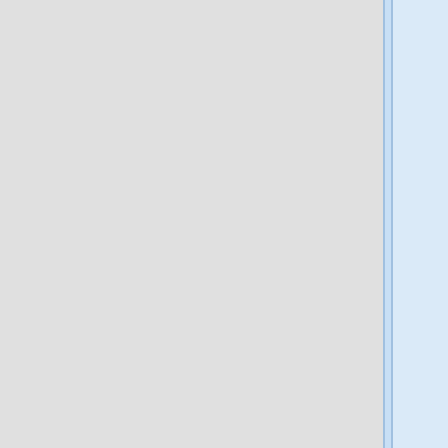event-based, memory. In [[Publications#MannEtal11a|Manning et al., 2011]], we sought to determine whether contextual reinstatement may be observed in electrical signals recorded from the human brain during episodic recall. We examined ECoG activity from 69 neurosurgical